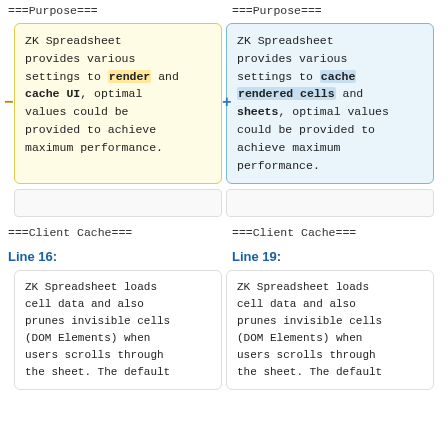===Purpose===
===Purpose===
ZK Spreadsheet provides various settings to render and cache UI, optimal values could be provided to achieve maximum performance.
ZK Spreadsheet provides various settings to cache rendered cells and sheets, optimal values could be provided to achieve maximum performance.
===Client Cache===
===Client Cache===
Line 16:
Line 19:
ZK Spreadsheet loads cell data and also prunes invisible cells (DOM Elements) when users scrolls through the sheet. The default
ZK Spreadsheet loads cell data and also prunes invisible cells (DOM Elements) when users scrolls through the sheet. The default